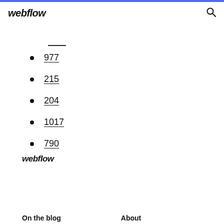webflow
977
215
204
1017
790
webflow
On the blog   About